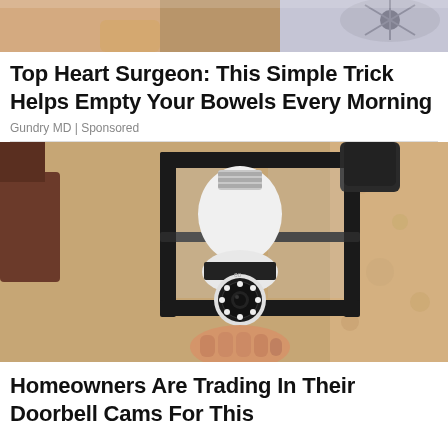[Figure (photo): Top cropped photo showing a person, partially visible, with a fan or appliance in background, beige/tan tones]
Top Heart Surgeon: This Simple Trick Helps Empty Your Bowels Every Morning
Gundry MD | Sponsored
[Figure (photo): Photo of a security camera disguised as a light bulb, installed inside a black lantern-style outdoor light fixture mounted on a textured stucco wall. A hand holds the bulb-camera from below.]
Homeowners Are Trading In Their Doorbell Cams For This